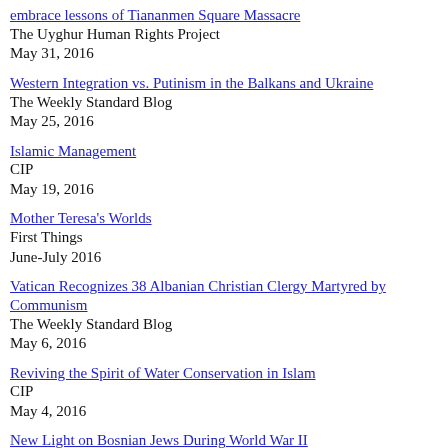embrace lessons of Tiananmen Square Massacre
The Uyghur Human Rights Project
May 31, 2016
Western Integration vs. Putinism in the Balkans and Ukraine
The Weekly Standard Blog
May 25, 2016
Islamic Management
CIP
May 19, 2016
Mother Teresa's Worlds
First Things
June-July 2016
Vatican Recognizes 38 Albanian Christian Clergy Martyred by Communism
The Weekly Standard Blog
May 6, 2016
Reviving the Spirit of Water Conservation in Islam
CIP
May 4, 2016
New Light on Bosnian Jews During World War II
The Huffington Post